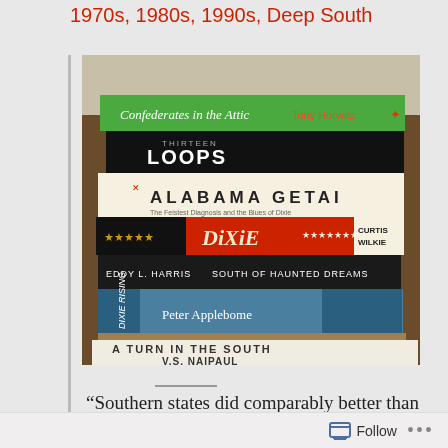1970s, 1980s, 1990s, Deep South
[Figure (photo): Stack of books about the American Deep South including: Confederates in the Attic by Tony Horwitz, Thirteen Loops, X Alabama Getai, Dixie by Curtis Wilkie, South of Haunted Dreams by Eddy L. Harris, Dixie Rising by Peter Applebome, Dixie Lullaby by Mark Kemp, A Turn in the South by V.S. Naipaul]
“Southern states did comparably better than others, but all flourished
Follow